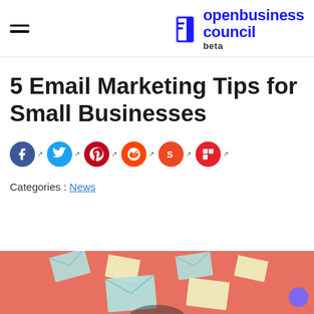open business council beta
5 Email Marketing Tips for Small Businesses
[Figure (infographic): Social media share icons row: Facebook (blue), Twitter (cyan), Pinterest (red), Reddit (orange-red), StumbleUpon (red-orange), Squarespace (red), each with an external link arrow icon]
Categories : News
[Figure (illustration): Email marketing illustration showing envelopes floating on a coral/salmon background, with a person visible at the bottom. A purple chat bubble button appears at bottom right.]